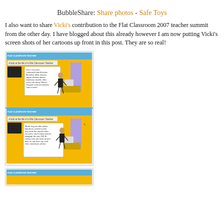BubbleShare: Share photos - Safe Toys
I also want to share Vicki's contribution to the Flat Classroom 2007 teacher summit from the other day. I have blogged about this already however I am now putting Vicki's screen shots of her cartoons up front in this post. They are so real!
[Figure (screenshot): Two-panel cartoon/screenshot showing 'Flat Classroom Teacher' with yellow background, speech bubbles describing teacher activities with technology]
[Figure (screenshot): Third panel of the Flat Classroom Teacher cartoon (partially visible)]